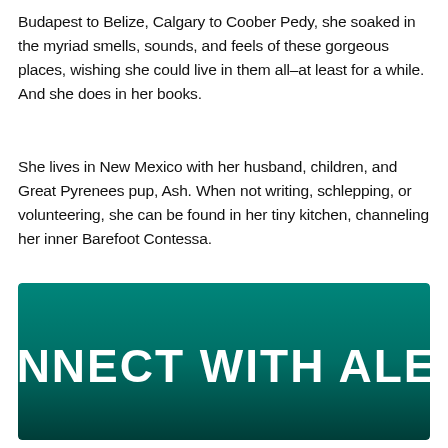Budapest to Belize, Calgary to Coober Pedy, she soaked in the myriad smells, sounds, and feels of these gorgeous places, wishing she could live in them all–at least for a while. And she does in her books.
She lives in New Mexico with her husband, children, and Great Pyrenees pup, Ash. When not writing, schlepping, or volunteering, she can be found in her tiny kitchen, channeling her inner Barefoot Contessa.
[Figure (other): Teal/green gradient banner with bold white uppercase text reading 'CONNECT WITH ALEXA']